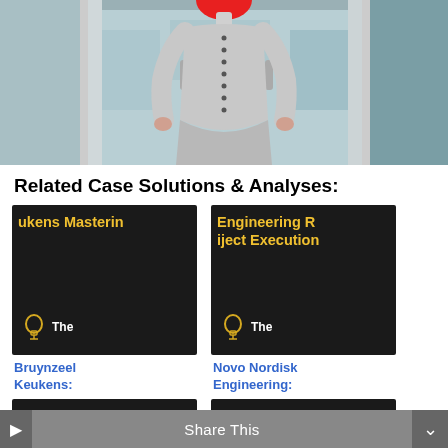[Figure (photo): 3D mannequin figure with red head, wearing a grey bodysuit with buttons, standing in front of a store/office background]
Related Case Solutions & Analyses:
[Figure (screenshot): Dark card thumbnail with yellow bold text 'ukens Masterin' (truncated) and a lightbulb logo with 'The' text]
[Figure (screenshot): Dark card thumbnail with yellow bold text 'Engineering R iject Execution' (truncated) and a lightbulb logo with 'The' text]
Bruynzeel Keukens:
Novo Nordisk Engineering:
[Figure (screenshot): Dark card thumbnail with yellow bold text 'View of the Re' (truncated)]
[Figure (screenshot): Dark card thumbnail with yellow bold text 'ellence in Glo' (truncated)]
Share This